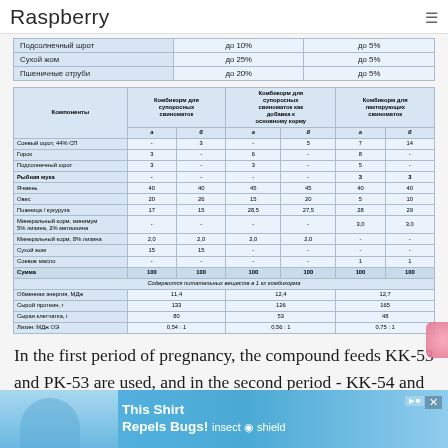Raspberry
|  | до 10% | до 5% |
| --- | --- | --- |
| Подсолнечный шрот | до 10% | до 5% |
| Сухой жом | до 25% | до 5% |
| Пшеничные отруби | до 20% | до 5% |
| Компоненты | Комбикорм для супоросных свиноматок a | Комбикорм для супоросных свиноматок б | Комбикорм для супоросных свиноматок как добавка к основному корму a | Комбикорм для супоросных свиноматок как добавка к основному корму б | Комбикорм для лактирующих свиноматок a | Комбикорм для лактирующих свиноматок б |
| --- | --- | --- | --- | --- | --- | --- |
| Соевый шрот, 44% СП | - | 3 | - | 5 | 7 | 14 |
| Горох | 3 | - | 6 | - | 8 | - |
| Подсолнечный шрот | 3 | - | 3 | - | 5 | - |
| Рыбная мука | - | - | - | - | 3 | 3 |
| Ячмень | 40 | 40 | 45 | 45 | 40 | 40 |
| Овес | 20 | 26 | 15 | 20 | 5 | 10 |
| Пшеница / кукуруза | 17 | 15 | 28,5 | 27,5 | 28 | 29 |
| Минеральный корм, минимум 5% лизина, 2% метионина | - | - | - | - | 3,0 | 3,0 |
| Минеральный корм, 8% лизина | 2,0 | 2,0 | 2,0 | 2,0 | - | - |
| Сухой жом | 15 | 15 | - | - | - | - |
| Соевое масло | - | - | - | - | 1 | 1 |
| Сумма | 100 | 100 | 100 | 100 | 100 | 100 |
| Содержится питательных веществ в 1 кг комбикорма |  |  |  |  |  |  |
| Обменная энергия, МДж | 11,4 |  | 12,4 |  | 12,7 |  |
| Сырой протеин, г | 133 |  | 126 |  | 165 |  |
| Сырая клетчатка, г | 80 |  | 53 |  | 48 |  |
| Лизин: МДж ОЭ | 0,54 : 1 |  | 0,56 : 1 |  | 0,75 : 1 |  |
In the first period of pregnancy, the compound feeds KK-53 and PK-53 are used, and in the second period - KK-54 and PK-54. At industrial
[Figure (screenshot): Advertisement banner: insect shield shirt promotion]